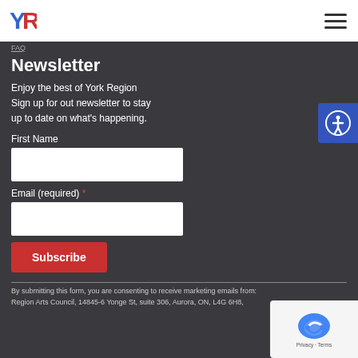York Region Arts Council logo and navigation menu
FAQ
Newsletter
Enjoy the best of York Region Sign up for out newsletter to stay up to date on what’s happening.
First Name
Email (required) *
Subscribe
By submitting this form, you are consenting to receive marketing emails from: York Region Arts Council, 14845-6 Yonge St, suite 306, Aurora, ON, L4G 6H8,